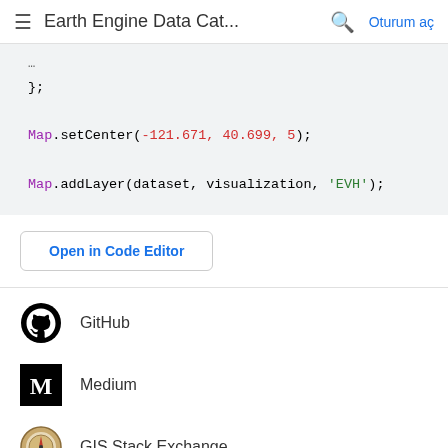Earth Engine Data Cat... Oturum aç
};

Map.setCenter(-121.671, 40.699, 5);

Map.addLayer(dataset, visualization, 'EVH');
Open in Code Editor
GitHub
Medium
GIS Stack Exchange
Twitter